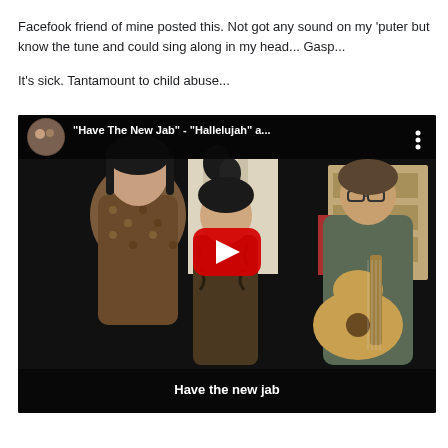Facefook friend of mine posted this. Not got any sound on my 'puter but know the tune and could sing along in my head... Gasp...
It's sick. Tantamount to child abuse...
[Figure (screenshot): YouTube video thumbnail showing a family singing together — two women and a man playing guitar in a bedroom setting. The video title reads '"Have The New Jab" - "Hallelujah" a...' with a red YouTube play button in the center and subtitle text 'Have the new jab' at the bottom.]